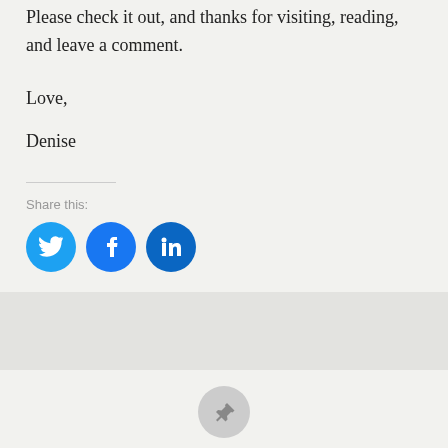Please check it out, and thanks for visiting, reading, and leave a comment.
Love,
Denise
Share this:
[Figure (other): Three circular social media share buttons: Twitter (blue bird icon), Facebook (blue f icon), LinkedIn (blue in icon)]
Loading...